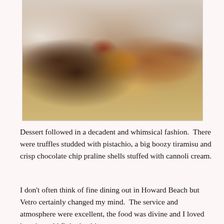[Figure (photo): A plated dessert assortment on a white rectangular plate, including chocolate truffles rolled in pistachio and other coatings, a tiramisu square topped with a strawberry, chocolate layered slices, praline shells, and cannoli on a restaurant table setting.]
Dessert followed in a decadent and whimsical fashion.  There were truffles studded with pistachio, a big boozy tiramisu and crisp chocolate chip praline shells stuffed with cannoli cream.
I don't often think of fine dining out in Howard Beach but Vetro certainly changed my mind.  The service and atmosphere were excellent, the food was divine and I loved how it could fit both a big...